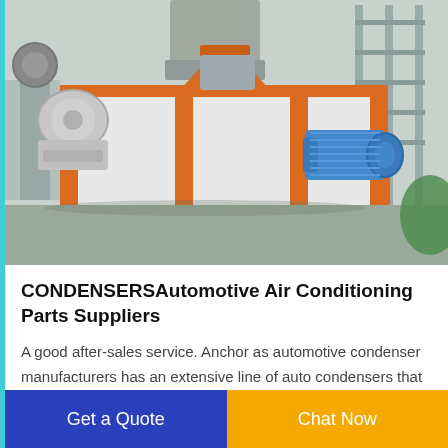[Figure (photo): Industrial shredder/condenser machine with orange metal frame, white body panels, and a blue electric motor, photographed in a factory setting with steel structures in background.]
CONDENSERSAutomotive Air Conditioning Parts Suppliers
A good after-sales service. Anchor as automotive condenser manufacturers has an extensive line of auto condensers that is sure to fit your vehicle. With our extensive quality control